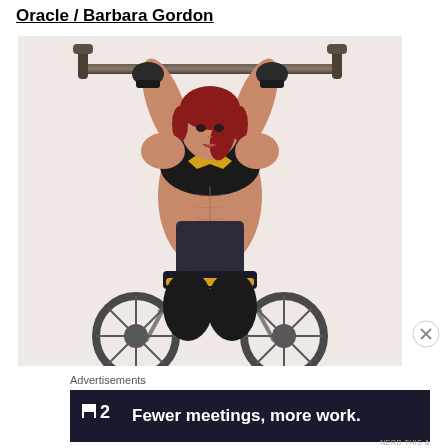Oracle / Barbara Gordon
[Figure (illustration): Digital illustration of Oracle / Barbara Gordon, a muscular red-haired woman in a black and yellow Batgirl-themed sports top, doing pull-ups on a horizontal bar while seated in a wheelchair. The background is a light pinkish-beige color.]
Advertisements
[Figure (other): Advertisement banner with dark navy background showing a logo consisting of a small square with a line and the number 2, followed by bold white text: Fewer meetings, more work.]